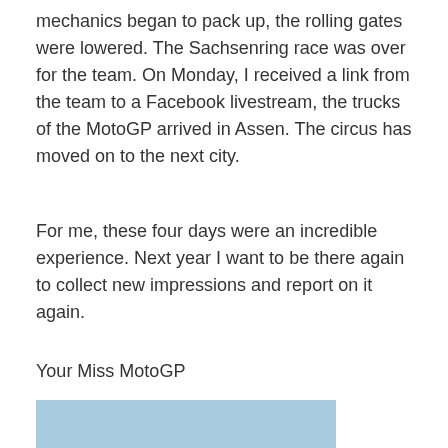mechanics began to pack up, the rolling gates were lowered. The Sachsenring race was over for the team. On Monday, I received a link from the team to a Facebook livestream, the trucks of the MotoGP arrived in Assen. The circus has moved on to the next city.
For me, these four days were an incredible experience. Next year I want to be there again to collect new impressions and report on it again.
Your Miss MotoGP
[Figure (photo): Outdoor photo of a crowd of people at what appears to be a MotoGP race venue, with a grandstand/building structure visible in the background under a clear blue sky.]